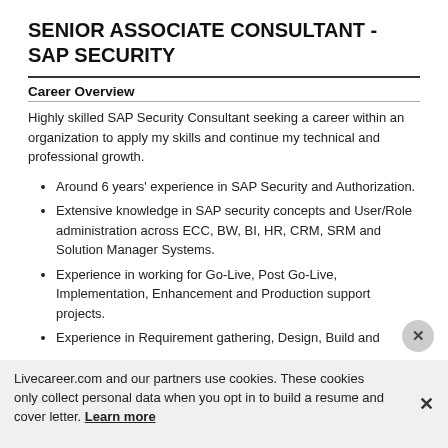SENIOR ASSOCIATE CONSULTANT - SAP SECURITY
Career Overview
Highly skilled SAP Security Consultant seeking a career within an organization to apply my skills and continue my technical and professional growth.
Around 6 years' experience in SAP Security and Authorization.
Extensive knowledge in SAP security concepts and User/Role administration across ECC, BW, BI, HR, CRM, SRM and Solution Manager Systems.
Experience in working for Go-Live, Post Go-Live, Implementation, Enhancement and Production support projects.
Experience in Requirement gathering, Design, Build and
Livecareer.com and our partners use cookies. These cookies only collect personal data when you opt in to build a resume and cover letter. Learn more